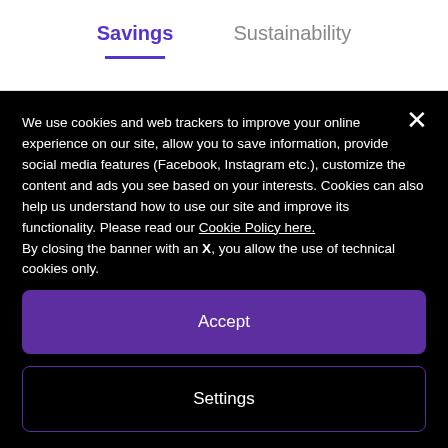Savings	Sustainability
We use cookies and web trackers to improve your online experience on our site, allow you to save information, provide social media features (Facebook, Instagram etc.), customize the content and ads you see based on your interests. Cookies can also help us understand how to use our site and improve its functionality. Please read our Cookie Policy here.
By closing the banner with an X, you allow the use of technical cookies only.
Accept
Settings